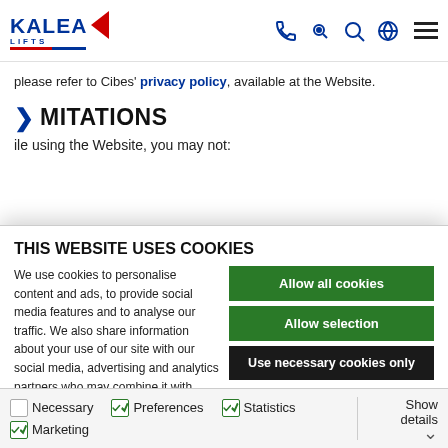KALEA LIFTS — navigation header with phone, search, globe, and menu icons
please refer to Cibes' privacy policy, available at the Website.
LIMITATIONS
ile using the Website, you may not:
THIS WEBSITE USES COOKIES
We use cookies to personalise content and ads, to provide social media features and to analyse our traffic. We also share information about your use of our site with our social media, advertising and analytics partners who may combine it with other information that you've provided to them or that they've collected from your use of their services.
Allow all cookies
Allow selection
Use necessary cookies only
Necessary  Preferences  Statistics  Marketing  Show details